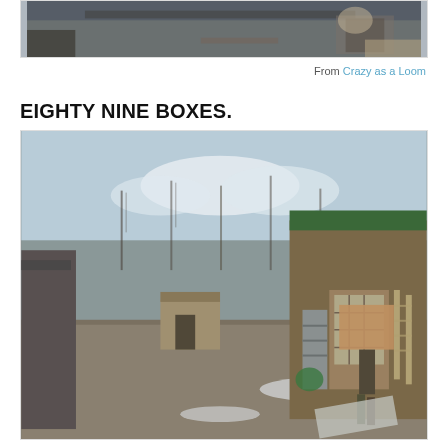[Figure (photo): Partial view of a person's feet/legs near a wooden structure, dimly lit indoor or overcast scene]
From Crazy as a Loom
EIGHTY NINE BOXES.
[Figure (photo): Outdoor scene showing a person carrying a large cardboard box toward a rustic wooden barn with a green roof. A moving truck is on the left, bare winter trees in the background, small outbuildings visible, along with a bookshelf and ladder leaning against the barn.]